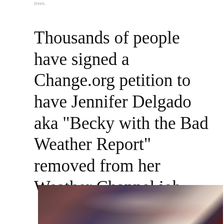trees.
Thousands of people have signed a Change.org petition to have Jennifer Delgado aka "Becky with the Bad Weather Report" removed from her Weather Channel job
[Figure (photo): Blurred/obscured photo, likely a television broadcast or news clip still frame with dark and reddish tones.]